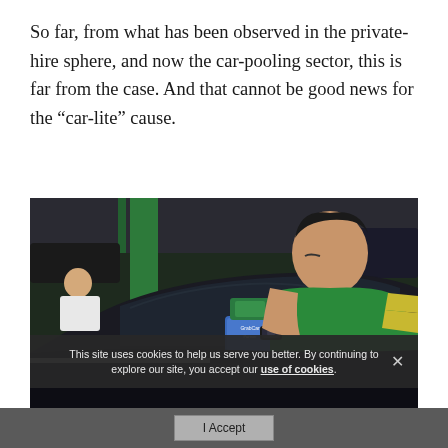So far, from what has been observed in the private-hire sphere, and now the car-pooling sector, this is far from the case. And that cannot be good news for the “car-lite” cause.
[Figure (photo): A person in a green shirt leaning over a dark car, attaching or inspecting something on the windshield. In the background, a parking area with green columns is visible and another person in white is seen seated.]
This site uses cookies to help us serve you better. By continuing to explore our site, you accept our use of cookies.
I Accept